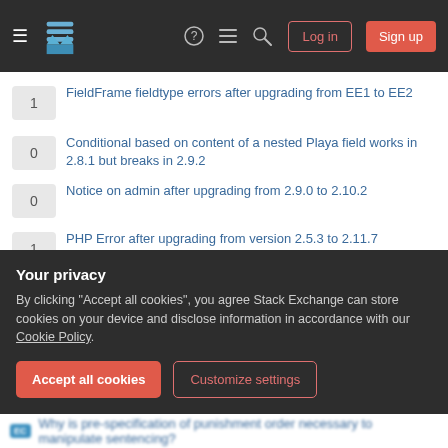Stack Exchange navigation bar with hamburger menu, logo, help, chat, search icons, Log in and Sign up buttons
1 — FieldFrame fieldtype errors after upgrading from EE1 to EE2
0 — Conditional based on content of a nested Playa field works in 2.8.1 but breaks in 2.9.2
0 — Notice on admin after upgrading from 2.9.0 to 2.10.2
1 — PHP Error after upgrading from version 2.5.3 to 2.11.7
2 — White screen on multi site front end after upgrading Expressionengine
Hot Network Questions
Are people allowed to keep cash in pocket when going through [blurred]
Your privacy
By clicking "Accept all cookies", you agree Stack Exchange can store cookies on your device and disclose information in accordance with our Cookie Policy.
Accept all cookies | Customize settings
Why is pre-specification of punishment order necessary to manipulate sentencing?